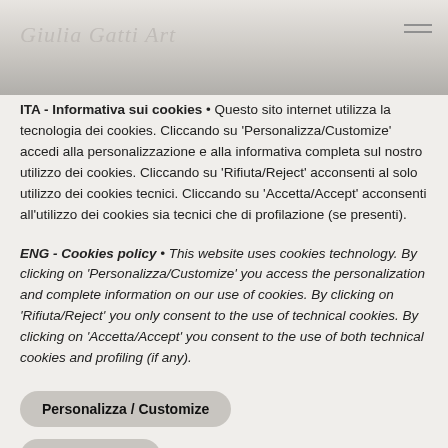Giulia Gatti Art
ITA - Informativa sui cookies • Questo sito internet utilizza la tecnologia dei cookies. Cliccando su 'Personalizza/Customize' accedi alla personalizzazione e alla informativa completa sul nostro utilizzo dei cookies. Cliccando su 'Rifiuta/Reject' acconsenti al solo utilizzo dei cookies tecnici. Cliccando su 'Accetta/Accept' acconsenti all'utilizzo dei cookies sia tecnici che di profilazione (se presenti).
ENG - Cookies policy • This website uses cookies technology. By clicking on 'Personalizza/Customize' you access the personalization and complete information on our use of cookies. By clicking on 'Rifiuta/Reject' you only consent to the use of technical cookies. By clicking on 'Accetta/Accept' you consent to the use of both technical cookies and profiling (if any).
Personalizza / Customize
Rifiuta / Reject
Accetta / Accept